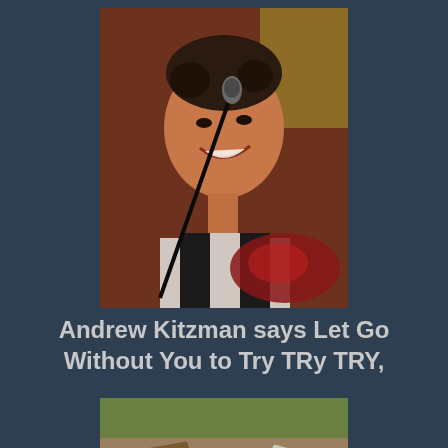[Figure (photo): Young man smiling at a microphone, playing guitar on stage, wearing a black vest over a white shirt, warm stage lighting with yellowish-green background]
Andrew Kitzman says Let Go Without You to Try TRy TRY,
[Figure (photo): Man smiling and leaning forward outdoors, near a pile of firewood, wearing a dark blue sweater, playing guitar]